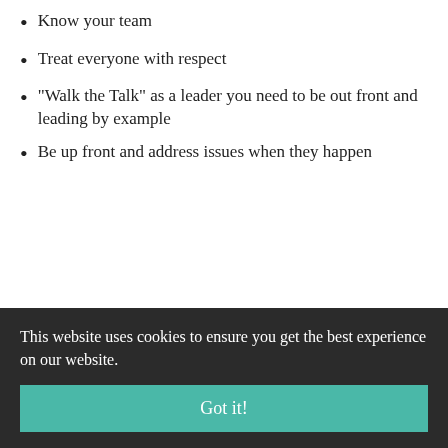Know your team
Treat everyone with respect
"Walk the Talk" as a leader you need to be out front and leading by example
Be up front and address issues when they happen
[Figure (illustration): Circular icon with a person wearing VR goggles, flanked by two triangular arrow shapes pointing outward, with concentric circle lines in navy blue and light blue in the background]
This website uses cookies to ensure you get the best experience on our website.
Got it!